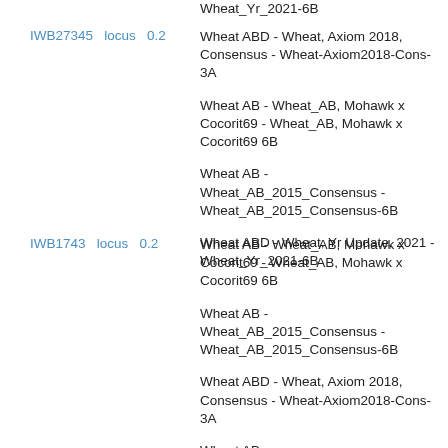Wheat_Yr_2021-6B
Wheat ABD - Wheat, Axiom 2018, Consensus - Wheat-Axiom2018-Cons-3A
IWB27345   locus   0.2
Wheat AB - Wheat_AB, Mohawk x Cocorit69 - Wheat_AB, Mohawk x Cocorit69 6B
Wheat AB - Wheat_AB_2015_Consensus - Wheat_AB_2015_Consensus-6B
Wheat ABD - Wheat, Yr Update, 2021 - Wheat_Yr_2021-6B
Wheat AB - Wheat_AB, Mohawk x Cocorit69 - Wheat_AB, Mohawk x Cocorit69 6B
IWB1743   locus   0.2
Wheat AB - Wheat_AB_2015_Consensus - Wheat_AB_2015_Consensus-6B
Wheat ABD - Wheat, Axiom 2018, Consensus - Wheat-Axiom2018-Cons-3A
Wheat AB - Wheat_AB_2015_Consensus - Wheat_AB_2015_Consensus-6B